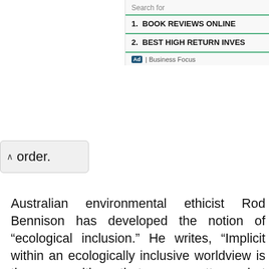Search for
1.  BOOK REVIEWS ONLINE
2.  BEST HIGH RETURN INVES
Ad | Business Focus
order.
Australian environmental ethicist Rod Bennison has developed the notion of “ecological inclusion.” He writes, “Implicit within an ecologically inclusive worldview is the recognition that, no matter what perceptions of nature may be held by any human individual, there is an overarching oneness or unity within nature and that all life forms have an inherent worth or intrinsic value.” Bennison focuses on identifying those destructive practices